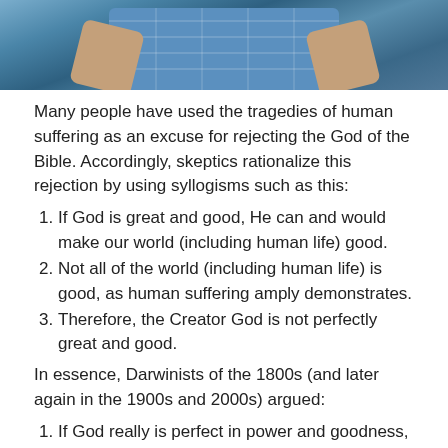[Figure (photo): Partial photo of a person wearing a blue plaid shirt, cropped to show torso and arms only]
Many people have used the tragedies of human suffering as an excuse for rejecting the God of the Bible. Accordingly, skeptics rationalize this rejection by using syllogisms such as this:
1. If God is great and good, He can and would make our world (including human life) good.
2. Not all of the world (including human life) is good, as human suffering amply demonstrates.
3. Therefore, the Creator God is not perfectly great and good.
In essence, Darwinists of the 1800s (and later again in the 1900s and 2000s) argued:
1. If God really is perfect in power and goodness, no human suffering would occur.
2. Human suffering does occur.
3. Therefore, God is not perfectly great in both...